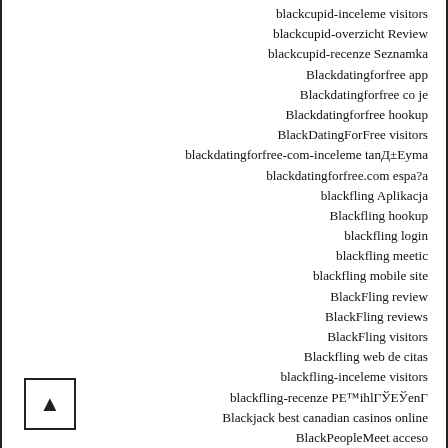blackcupid-inceleme visitors
blackcupid-overzicht Review
blackcupid-recenze Seznamka
Blackdatingforfree app
Blackdatingforfree co je
Blackdatingforfree hookup
BlackDatingForFree visitors
blackdatingforfree-com-inceleme tanД±Eуma
blackdatingforfree.com espa?a
blackfling Aplikacja
Blackfling hookup
blackfling login
blackfling meetic
blackfling mobile site
BlackFling review
BlackFling reviews
BlackFling visitors
Blackfling web de citas
blackfling-inceleme visitors
blackfling-recenze PE™ihlГЎЕЎenГ
Blackjack best canadian casinos online
BlackPeopleMeet acceso
blackpeoplemeet come funziona
blackpeoplemeet dating
blackpeoplemeet de bewertung
blackpeoplemeet fr review
Blackpeoplemeet hookup site